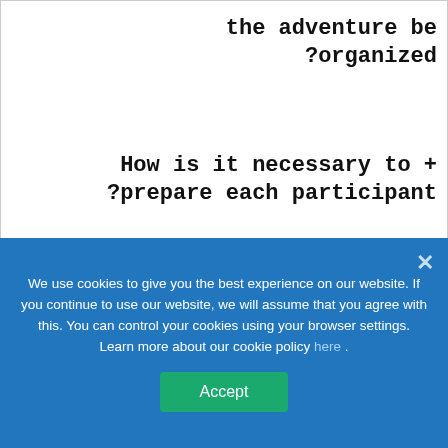the adventure be ?organized
How is it necessary to ?prepare each participant
[Figure (photo): Blue-toned photo panel with white bold text overlay reading: If you think this experience is right for you, be sure to contact us]
If you think this experience is right for you, be sure to contact us
We use cookies to give you the best experience on our website. If you continue to use our website, we will assume that you agree with this. You can control your cookies using your browser settings. Learn more about our cookie policy here